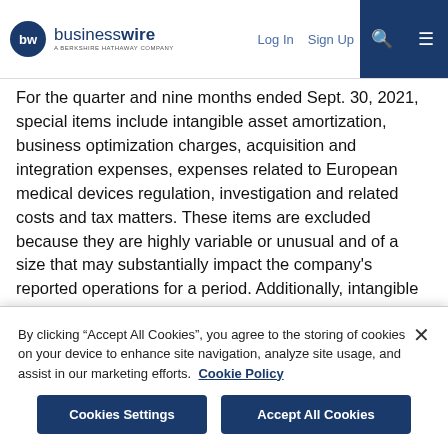businesswire — A BERKSHIRE HATHAWAY COMPANY | Log In | Sign Up
For the quarter and nine months ended Sept. 30, 2021, special items include intangible asset amortization, business optimization charges, acquisition and integration expenses, expenses related to European medical devices regulation, investigation and related costs and tax matters. These items are excluded because they are highly variable or unusual and of a size that may substantially impact the company's reported operations for a period. Additionally, intangible asset amortization is excluded as a special item to facilitate an evaluation of current and past operating performance and is consistent with how management and the company's Board of Directors assess performance.
By clicking "Accept All Cookies", you agree to the storing of cookies on your device to enhance site navigation, analyze site usage, and assist in our marketing efforts. Cookie Policy
Cookies Settings | Accept All Cookies